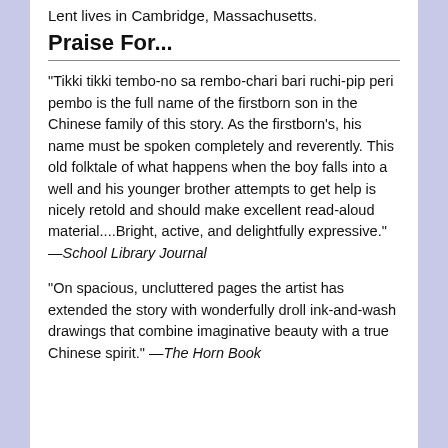Lent lives in Cambridge, Massachusetts.
Praise For...
“Tikki tikki tembo-no sa rembo-chari bari ruchi-pip peri pembo is the full name of the firstborn son in the Chinese family of this story. As the firstborn’s, his name must be spoken completely and reverently. This old folktale of what happens when the boy falls into a well and his younger brother attempts to get help is nicely retold and should make excellent read-aloud material....Bright, active, and delightfully expressive.” —School Library Journal
“On spacious, uncluttered pages the artist has extended the story with wonderfully droll ink-and-wash drawings that combine imaginative beauty with a true Chinese spirit.” —The Horn Book